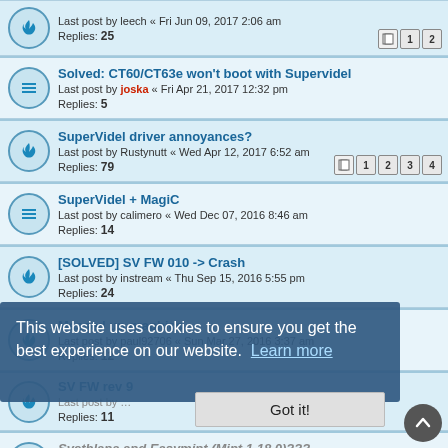Last post by leech « Fri Jun 09, 2017 2:06 am
Replies: 25
Solved: CT60/CT63e won't boot with Supervidel
Last post by joska « Fri Apr 21, 2017 12:32 pm
Replies: 5
SuperVidel driver annoyances?
Last post by Rustynutt « Wed Apr 12, 2017 6:52 am
Replies: 79
SuperVidel + MagiC
Last post by calimero « Wed Dec 07, 2016 8:46 am
Replies: 14
[SOLVED] SV FW 010 -> Crash
Last post by instream « Thu Sep 15, 2016 5:55 pm
Replies: 24
Messed up graphics
Last post by paul92706 « Sun Mar 27, 2016 3:37 am
Replies: 12
SV FW rev 9
Replies: 11
Svethlana and Easymint (Mint 1.18.0)???
Last post by MacFalcon « Thu Jan 07, 2016 11:23 pm
Replies: 6
SOLVED: Garbage output over 1024x768 with 256 colors or more
Last post by shoggoth « Fri Nov 13, 2015 5:02 pm
Replies: 5
This website uses cookies to ensure you get the best experience on our website. Learn more
Got it!